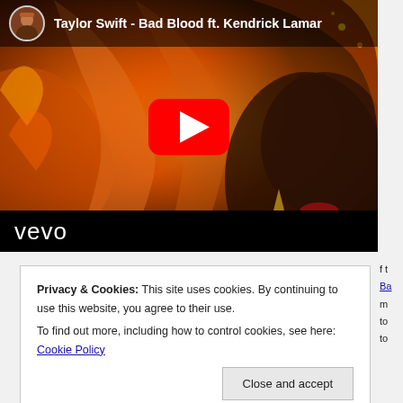[Figure (screenshot): YouTube embedded video thumbnail for 'Taylor Swift - Bad Blood ft. Kendrick Lamar' with Vevo branding, showing Taylor Swift with red hair against an orange/fire background, with a red YouTube play button in the center.]
Privacy & Cookies: This site uses cookies. By continuing to use this website, you agree to their use.
To find out more, including how to control cookies, see here: Cookie Policy
Close and accept